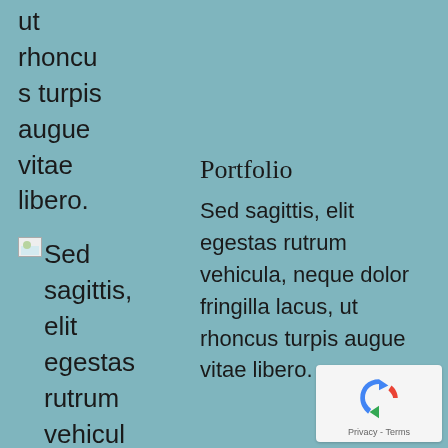ut rhoncus turpis augue vitae libero.
[Figure (illustration): Small broken image icon placeholder]
Sed sagittis, elit egestas rutrum vehicula, neque dolor fringilla lacus,
Portfolio
Sed sagittis, elit egestas rutrum vehicula, neque dolor fringilla lacus, ut rhoncus turpis augue vitae libero.
[Figure (logo): Google reCAPTCHA badge with Privacy - Terms text]